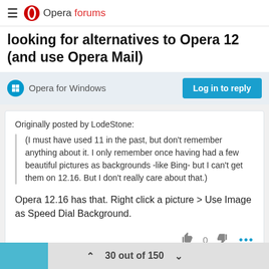Opera forums
looking for alternatives to Opera 12 (and use Opera Mail)
Opera for Windows
Originally posted by LodeStone:
(I must have used 11 in the past, but don't remember anything about it. I only remember once having had a few beautiful pictures as backgrounds -like Bing- but I can't get them on 12.16. But I don't really care about that.)
Opera 12.16 has that. Right click a picture > Use Image as Speed Dial Background.
30 out of 150